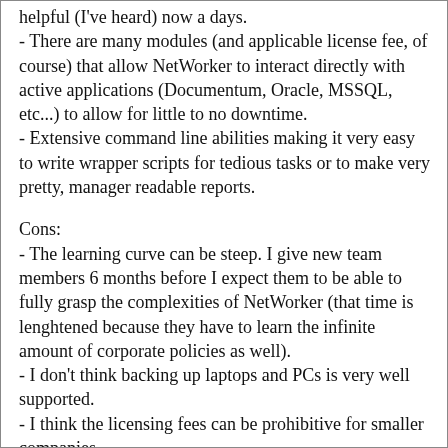helpful (I've heard) now a days. - There are many modules (and applicable license fee, of course) that allow NetWorker to interact directly with active applications (Documentum, Oracle, MSSQL, etc...) to allow for little to no downtime. - Extensive command line abilities making it very easy to write wrapper scripts for tedious tasks or to make very pretty, manager readable reports.
Cons: - The learning curve can be steep. I give new team members 6 months before I expect them to be able to fully grasp the complexities of NetWorker (that time is lenghtened because they have to learn the infinite amount of corporate policies as well). - I don't think backing up laptops and PCs is very well supported. - I think the licensing fees can be prohibitive for smaller companies. - NetWorker is pretty bad at interacting with tape devices. For example, if a person physically moves a tape from a tape drive, it